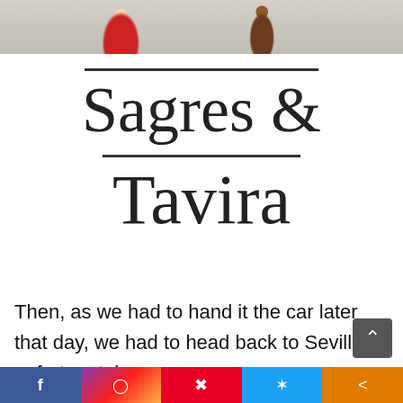[Figure (photo): Photo of two people/figures, one in a red dress and one in brown clothing, shown from below the waist, cropped at top of page]
Sagres & Tavira
Then, as we had to hand it the car later that day, we had to head back to Sevilla unfortunately.
Social share bar: Facebook, Instagram, Pinterest, Twitter, Share